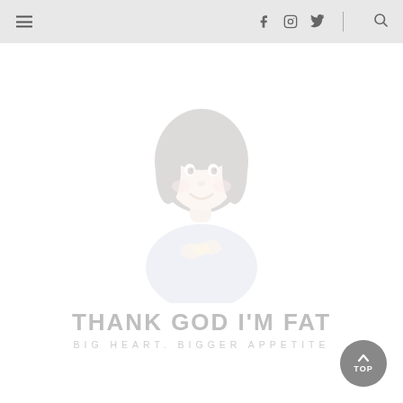Navigation header with hamburger menu, social icons (Facebook, Instagram, Twitter), divider, and search icon
[Figure (illustration): Cartoon illustration of a smiling woman with dark bob hair, wearing a blue top, holding something in her hands. Very light/faded appearance.]
THANK GOD I'M FAT
BIG HEART. BIGGER APPETITE